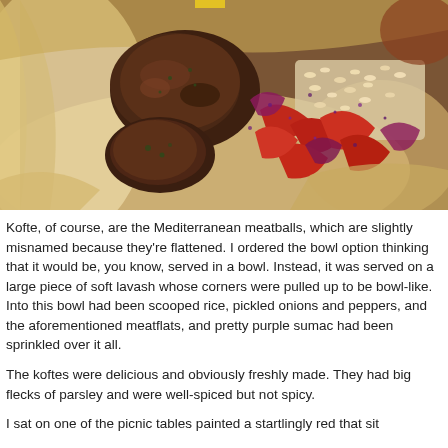[Figure (photo): Close-up photo of a kofte bowl served on lavash flatbread, showing grilled meatballs/meatflats, red pickled peppers and onions, rice, and purple sumac sprinkled over the ingredients, all nestled in flatbread shaped like a bowl.]
Kofte, of course, are the Mediterranean meatballs, which are slightly misnamed because they're flattened. I ordered the bowl option thinking that it would be, you know, served in a bowl. Instead, it was served on a large piece of soft lavash whose corners were pulled up to be bowl-like. Into this bowl had been scooped rice, pickled onions and peppers, and the aforementioned meatflats, and pretty purple sumac had been sprinkled over it all.
The koftes were delicious and obviously freshly made. They had big flecks of parsley and were well-spiced but not spicy.
I sat on one of the picnic tables painted a startlingly red that sit